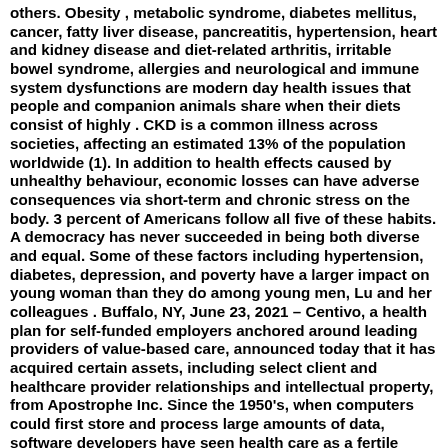others. Obesity , metabolic syndrome, diabetes mellitus, cancer, fatty liver disease, pancreatitis, hypertension, heart and kidney disease and diet-related arthritis, irritable bowel syndrome, allergies and neurological and immune system dysfunctions are modern day health issues that people and companion animals share when their diets consist of highly . CKD is a common illness across societies, affecting an estimated 13% of the population worldwide (1). In addition to health effects caused by unhealthy behaviour, economic losses can have adverse consequences via short-term and chronic stress on the body. 3 percent of Americans follow all five of these habits. A democracy has never succeeded in being both diverse and equal. Some of these factors including hypertension, diabetes, depression, and poverty have a larger impact on young woman than they do among young men, Lu and her colleagues . Buffalo, NY, June 23, 2021 – Centivo, a health plan for self-funded employers anchored around leading providers of value-based care, announced today that it has acquired certain assets, including select client and healthcare provider relationships and intellectual property, from Apostrophe Inc. Since the 1950's, when computers could first store and process large amounts of data, software developers have seen health care as a fertile domain. Perhaps most important, underwriting excellence can ensure the sustainability of an insurer's risk taking by providing a fact-based, analytical